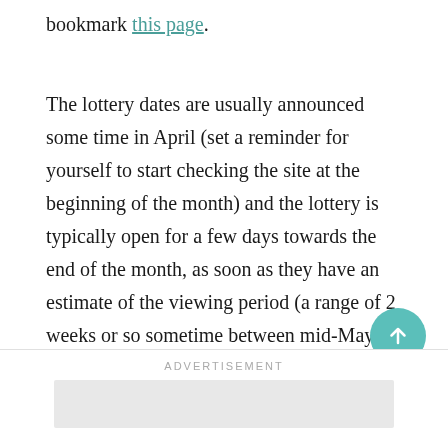bookmark this page.
The lottery dates are usually announced some time in April (set a reminder for yourself to start checking the site at the beginning of the month) and the lottery is typically open for a few days towards the end of the month, as soon as they have an estimate of the viewing period (a range of 2 weeks or so sometime between mid-May to mid-June, it changes every year depending on specific conditions and weather patterns).
ADVERTISEMENT